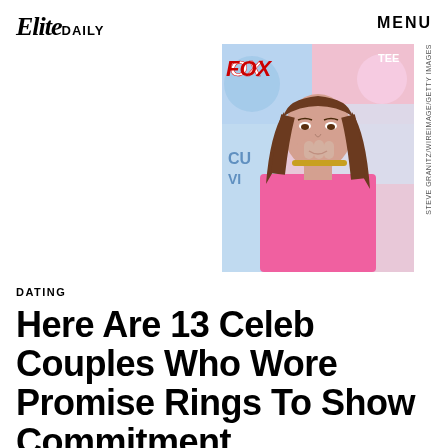Elite DAILY  MENU
[Figure (photo): Young woman with long brown hair wearing a pink strapless top, covering her mouth with her hand, at a FOX Teen Choice event. Photo credit: Steve Granitz/WireImage/Getty Images]
DATING
Here Are 13 Celeb Couples Who Wore Promise Rings To Show Commitment